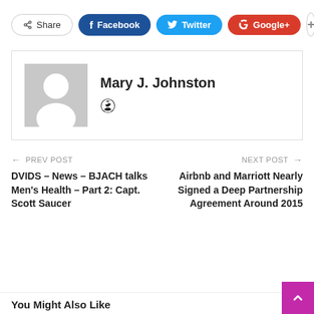[Figure (screenshot): Share bar with Share, Facebook, Twitter, Google+, and plus buttons]
[Figure (photo): Author box with gray placeholder avatar and name Mary J. Johnston with globe icon]
Mary J. Johnston
← PREV POST
DVIDS – News – BJACH talks Men's Health – Part 2: Capt. Scott Saucer
NEXT POST →
Airbnb and Marriott Nearly Signed a Deep Partnership Agreement Around 2015
You Might Also Like